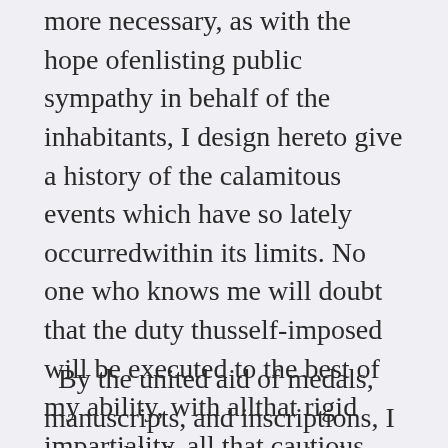more necessary, as with the hope ofenlisting public sympathy in behalf of the inhabitants, I design hereto give a history of the calamitous events which have so lately occurredwithin its limits. No one who knows me will doubt that the duty thusself-imposed will be executed to the best of my ability, with allthat rigid impartiality, all that cautious examination into facts, anddiligent collation of authorities, which should ever distinguish him whoaspires to the title of historian.
By the united aid of medals, manuscripts, and inscriptions, I am enabledto say, positively, that the borough of Vondervotteimittiss has